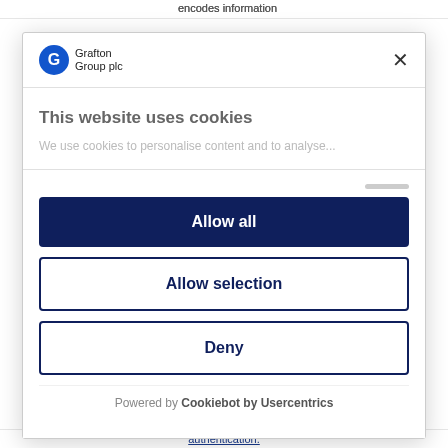encodes information
[Figure (logo): Grafton Group plc logo with blue G icon]
This website uses cookies
We use cookies to personalise content and to analyse...
Allow all
Allow selection
Deny
Powered by Cookiebot by Usercentrics
authentication.